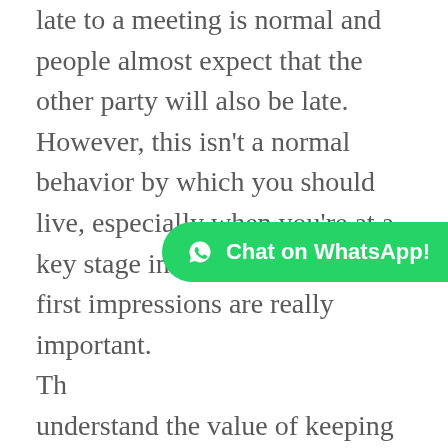late to a meeting is normal and people almost expect that the other party will also be late. However, this isn't a normal behavior by which you should live, especially when you're at a key stage in life when making first impressions are really important. Th understand the value of keeping time, the more natural it will become for you.

When you're late to a meeting, you're basically telling the other person that your own time is more valuable than their time, and that you don't care whether
[Figure (other): Green WhatsApp chat button with WhatsApp logo icon and text 'Chat on WhatsApp!']